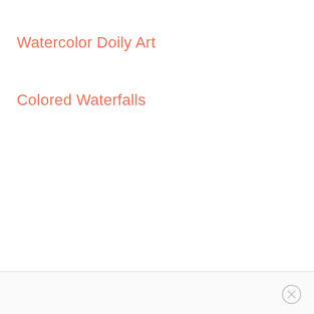Watercolor Doily Art
Colored Waterfalls